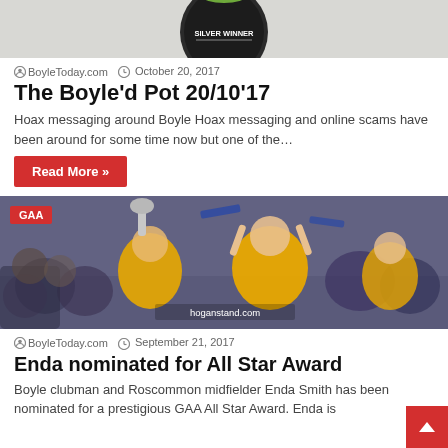[Figure (photo): Award badge showing SILVER WINNER, partially cropped at top]
BoyleToday.com   October 20, 2017
The Boyle'd Pot 20/10'17
Hoax messaging around Boyle Hoax messaging and online scams have been around for some time now but one of the…
Read More »
[Figure (photo): GAA celebration photo: Roscommon players in yellow jerseys lifting a trophy, crowd celebrating. Badge 'GAA' top-left. Watermark 'hoganstand.com']
BoyleToday.com   September 21, 2017
Enda nominated for All Star Award
Boyle clubman and Roscommon midfielder Enda Smith has been nominated for a prestigious GAA All Star Award. Enda is